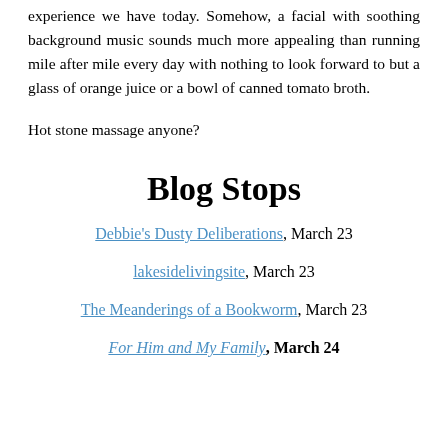experience we have today. Somehow, a facial with soothing background music sounds much more appealing than running mile after mile every day with nothing to look forward to but a glass of orange juice or a bowl of canned tomato broth.
Hot stone massage anyone?
Blog Stops
Debbie's Dusty Deliberations, March 23
lakesidelivingsite, March 23
The Meanderings of a Bookworm, March 23
For Him and My Family, March 24